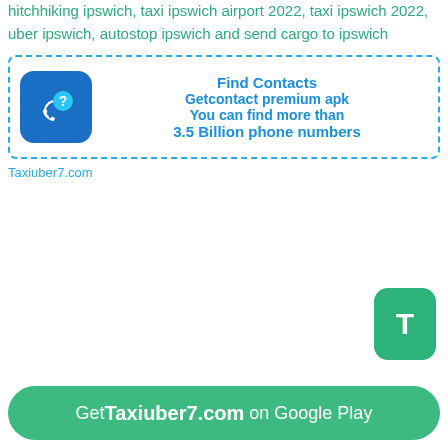hitchhiking ipswich, taxi ipswich airport 2022, taxi ipswich 2022, uber ipswich, autostop ipswich and send cargo to ipswich
[Figure (infographic): Advertisement box with dashed blue border. Blue app icon with phone and question mark on left. Text on right: Find Contacts, Getcontact premium apk, You can find more than, 3.5 Billion phone numbers]
Taxiuber7.com
[Figure (infographic): Green rounded square button with white letter T]
Get Taxiuber7.com on Google Play